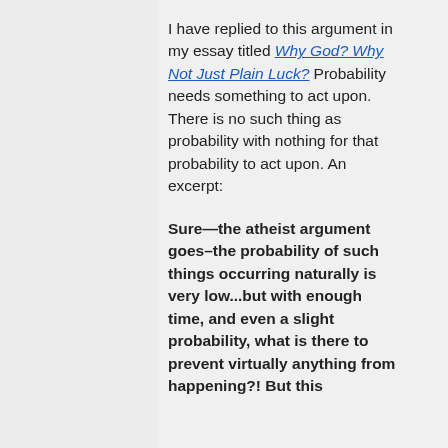I have replied to this argument in my essay titled Why God? Why Not Just Plain Luck? Probability needs something to act upon. There is no such thing as probability with nothing for that probability to act upon. An excerpt:
Sure—the atheist argument goes–the probability of such things occurring naturally is very low...but with enough time, and even a slight probability, what is there to prevent virtually anything from happening?! But this